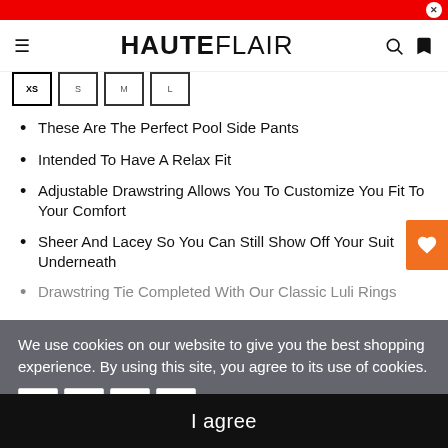HAUTEFLAIR
These Are The Perfect Pool Side Pants
Intended To Have A Relax Fit
Adjustable Drawstring Allows You To Customize Your Fit To Your Comfort
Sheer And Lacey So You Can Still Show Off Your Suit Underneath
Drawstring Tie Completed With Our Classic Luli Rings
We use cookies on our website to give you the best shopping experience. By using this site, you agree to its use of cookies.
I agree